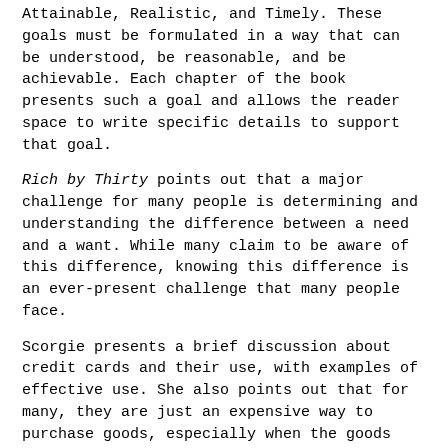SMART goals—goals that are Specific, Measurable, Attainable, Realistic, and Timely. These goals must be formulated in a way that can be understood, be reasonable, and be achievable. Each chapter of the book presents such a goal and allows the reader space to write specific details to support that goal.
Rich by Thirty points out that a major challenge for many people is determining and understanding the difference between a need and a want. While many claim to be aware of this difference, knowing this difference is an ever-present challenge that many people face.
Scorgie presents a brief discussion about credit cards and their use, with examples of effective use. She also points out that for many, they are just an expensive way to purchase goods, especially when the goods are not paid in full and on time.
As we balance saving and spending in our lives, establishing an emergency account is an effective way to help to stay out of debt from unexpected expenses—medical, car, or home repair, for instance.